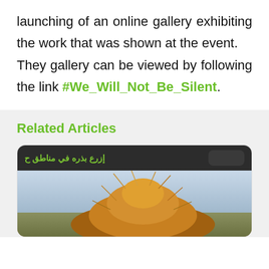launching of an online gallery exhibiting the work that was shown at the event.

They gallery can be viewed by following the link #We_Will_Not_Be_Silent.
Related Articles
[Figure (photo): Article card showing Arabic text 'إزرع بذره في مناطق ح' on dark bar at top, with a photo of a hay/grain pile in a field below]